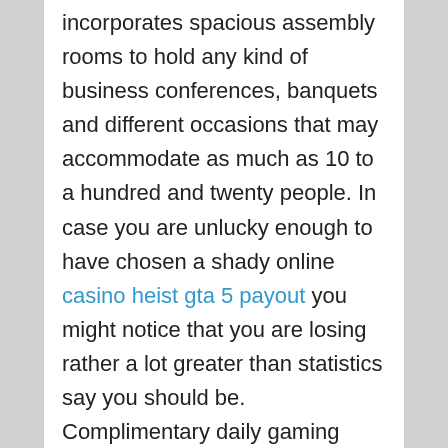incorporates spacious assembly rooms to hold any kind of business conferences, banquets and different occasions that may accommodate as much as 10 to a hundred and twenty people. In case you are unlucky enough to have chosen a shady online casino heist gta 5 payout you might notice that you are losing rather a lot greater than statistics say you should be. Complimentary daily gaming lessons are available.
Is it because the teen is just too depressed to cope with the actual world and uses gaming as an try and stave off loneliness? Jeff Worthe, the president of Worthe Real Estate Group,